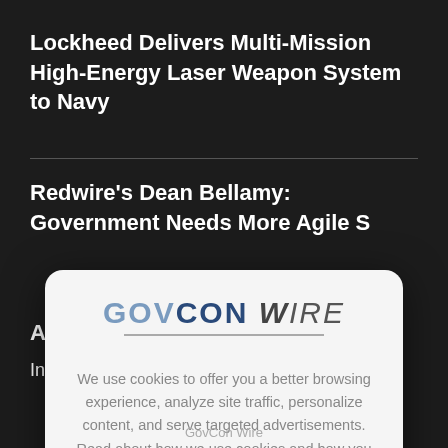Lockheed Delivers Multi-Mission High-Energy Laser Weapon System to Navy
Redwire's Dean Bellamy: Government Needs More Agile S…
A…
In…
[Figure (screenshot): GovCon Wire cookie consent modal overlay showing logo and cookie policy notice with an X close button]
We use cookies to offer you a better browsing experience, analyze site traffic, personalize content, and serve targeted advertisements. Read about how we use cookies and how you can control them on our Privacy Policy. If you continue to use this site, you consent to our use of cookies.
GovCon Wire